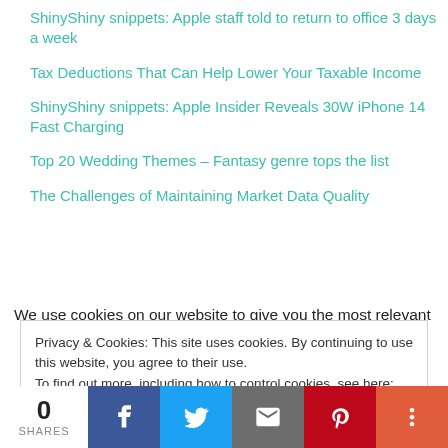ShinyShiny snippets: Apple staff told to return to office 3 days a week
Tax Deductions That Can Help Lower Your Taxable Income
ShinyShiny snippets: Apple Insider Reveals 30W iPhone 14 Fast Charging
Top 20 Wedding Themes – Fantasy genre tops the list
The Challenges of Maintaining Market Data Quality
We use cookies on our website to give you the most relevant
Privacy & Cookies: This site uses cookies. By continuing to use this website, you agree to their use. To find out more, including how to control cookies, see here: Cookie Policy
0 SHARES